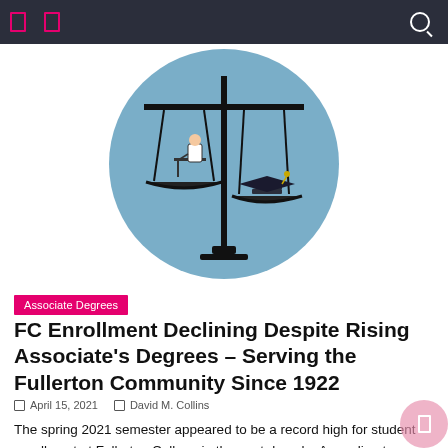[Figure (illustration): Balance scales illustration on blue circle background. Left pan shows a student studying at a desk, right pan shows a graduation cap. The scales tip to the left (studying side).]
Associate Degrees
FC Enrollment Declining Despite Rising Associate’s Degrees – Serving the Fullerton Community Since 1922
April 15, 2021   David M. Collins
The spring 2021 semester appeared to be a record high for student enrollment at Fullerton College in the past decade. According to Joseph Ramirez, acting director of Fullerton